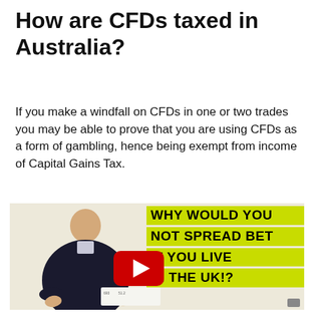How are CFDs taxed in Australia?
If you make a windfall on CFDs in one or two trades you may be able to prove that you are using CFDs as a form of gambling, hence being exempt from income of Capital Gains Tax.
[Figure (screenshot): Video thumbnail showing a man in a dark sweater speaking, with a YouTube play button overlay and yellow-on-black text reading: WHY WOULD YOU NOT SPREAD BET IF YOU LIVE IN THE UK!?]